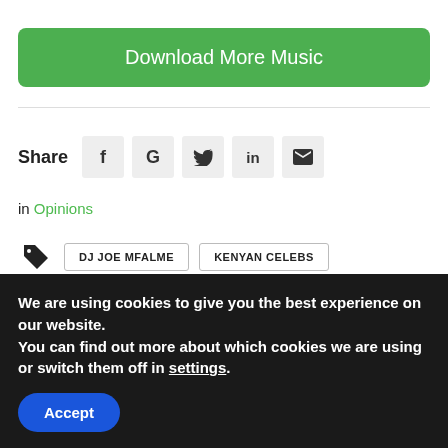Download More Music
Share
in Opinions
DJ JOE MFALME   KENYAN CELEBS
We are using cookies to give you the best experience on our website.
You can find out more about which cookies we are using or switch them off in settings.
Accept